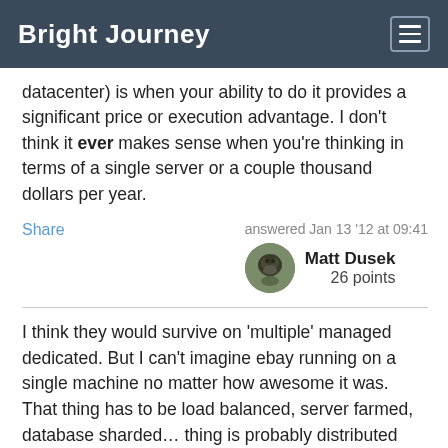Bright Journey
datacenter) is when your ability to do it provides a significant price or execution advantage. I don't think it ever makes sense when you're thinking in terms of a single server or a couple thousand dollars per year.
Share
answered Jan 13 '12 at 09:41
Matt Dusek
26 points
I think they would survive on 'multiple' managed dedicated. But I can't imagine ebay running on a single machine no matter how awesome it was. That thing has to be load balanced, server farmed, database sharded... thing is probably distributed across a lot of dedicated servers.
Something like Stackexchange (this entire system) I think I read runs on a single dedicated machine. I think